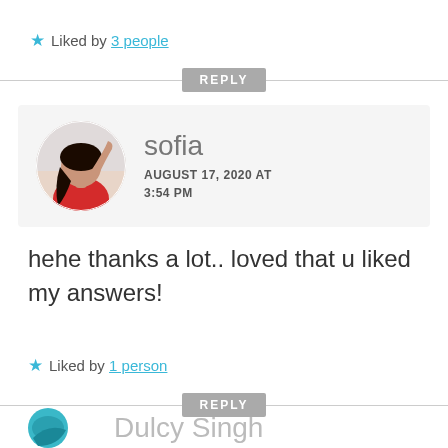★ Liked by 3 people
REPLY
[Figure (photo): Circular avatar photo of sofia, a young woman in a red top with dark hair, posed with arm raised]
sofia
AUGUST 17, 2020 AT 3:54 PM
hehe thanks a lot.. loved that u liked my answers!
★ Liked by 1 person
REPLY
Dulcy Singh